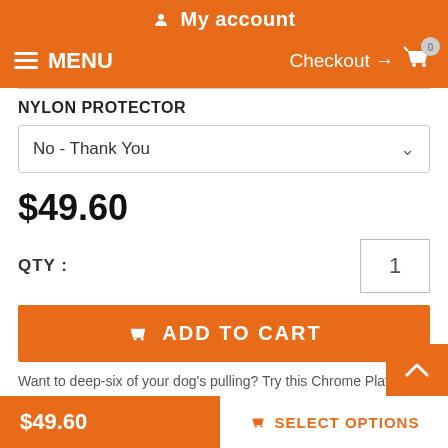My account
MENU  Checkout → 0
NYLON PROTECTOR
No - Thank You
$49.60
QTY : 1
ADD TO CART
Want to deep-six of your dog's pulling? Try this Chrome Plated
$49.60  SELECT OPTIONS